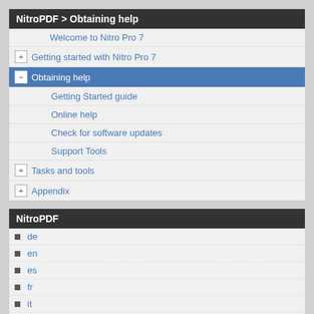NitroPDF > Obtaining help
Welcome to Nitro Pro 7
+ Getting started with Nitro Pro 7
- Obtaining help
Getting Started guide
Online help
Check for software updates
Support Tools
+ Tasks and tools
+ Appendix
NitroPDF
de
en
es
fr
it
nl
Powered by Helpmax Guide Source